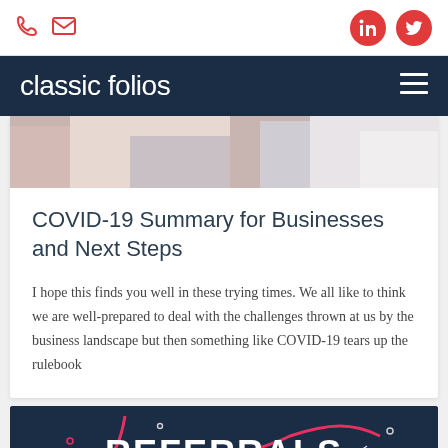classic folios — website header with phone, email, LinkedIn, Twitter icons
[Figure (photo): Partial hero image showing a person's hands working at a desk with a tablet and notebook]
COVID-19 Summary for Businesses and Next Steps
I hope this finds you well in these trying times. We all like to think we are well-prepared to deal with the challenges thrown at us by the business landscape but then something like COVID-19 tears up the rulebook
[Figure (infographic): Dark navy background infographic showing the word REFERRALS in bold white text with a pink curved line and small decorative dots]